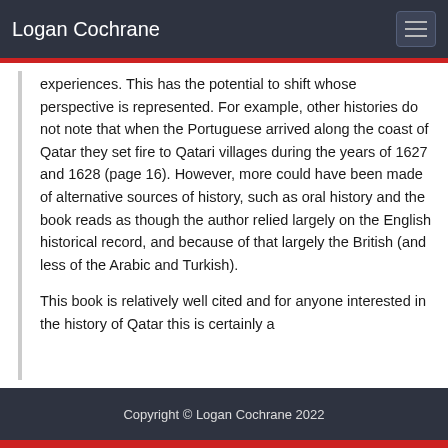Logan Cochrane
experiences. This has the potential to shift whose perspective is represented. For example, other histories do not note that when the Portuguese arrived along the coast of Qatar they set fire to Qatari villages during the years of 1627 and 1628 (page 16). However, more could have been made of alternative sources of history, such as oral history and the book reads as though the author relied largely on the English historical record, and because of that largely the British (and less of the Arabic and Turkish).
This book is relatively well cited and for anyone interested in the history of Qatar this is certainly a
Copyright © Logan Cochrane 2022